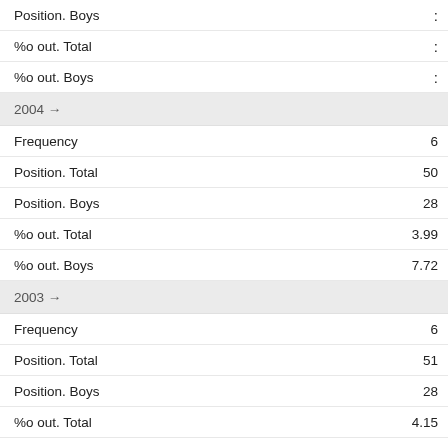| Field | Value |
| --- | --- |
| Position. Boys | : |
| %o out. Total | : |
| %o out. Boys | : |
| 2004 → |  |
| Frequency | 6 |
| Position. Total | 50 |
| Position. Boys | 28 |
| %o out. Total | 3.99 |
| %o out. Boys | 7.72 |
| 2003 → |  |
| Frequency | 6 |
| Position. Total | 51 |
| Position. Boys | 28 |
| %o out. Total | 4.15 |
| %o out. Boys | 7.88 |
| 2002 → |  |
| Frequency | 6 |
| Position. Total | 41 |
| Position. Boys | 22 |
| %o out. Total | 4.47 |
| %o out. Boys | 8.76 |
| 2001 |  |